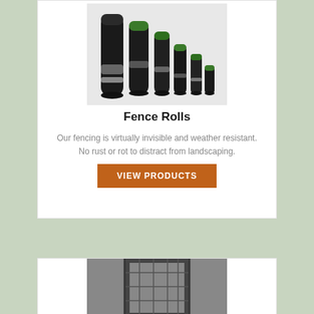[Figure (photo): Multiple rolls of black plastic fence mesh/netting of varying sizes arranged in a group against a light background]
Fence Rolls
Our fencing is virtually invisible and weather resistant. No rust or rot to distract from landscaping.
[Figure (other): Button reading VIEW PRODUCTS on an orange-brown background]
[Figure (photo): Bottom portion of a second product card showing a metal gate or fence panel]